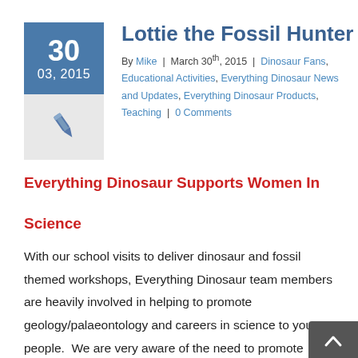Lottie the Fossil Hunter
By Mike | March 30th, 2015 | Dinosaur Fans, Educational Activities, Everything Dinosaur News and Updates, Everything Dinosaur Products, Teaching | 0 Comments
Everything Dinosaur Supports Women In Science
With our school visits to deliver dinosaur and fossil themed workshops, Everything Dinosaur team members are heavily involved in helping to promote geology/palaeontology and careers in science to young people.  We are very aware of the need to promote science to both girls and boys and as we visit a large number of schools we recognise that our team members can make an important contribution.  It's not